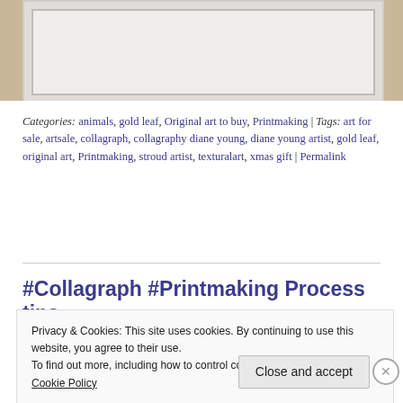[Figure (photo): Partial photo of a framed artwork on a beige/cream wall, showing the white frame and empty interior, cropped at the top of the page.]
Categories: animals, gold leaf, Original art to buy, Printmaking | Tags: art for sale, artsale, collagraph, collagraphy diane young, diane young artist, gold leaf, original art, Printmaking, stroud artist, texturalart, xmas gift | Permalink
#Collagraph #Printmaking Process tips
Privacy & Cookies: This site uses cookies. By continuing to use this website, you agree to their use.
To find out more, including how to control cookies, see here:
Cookie Policy

Close and accept